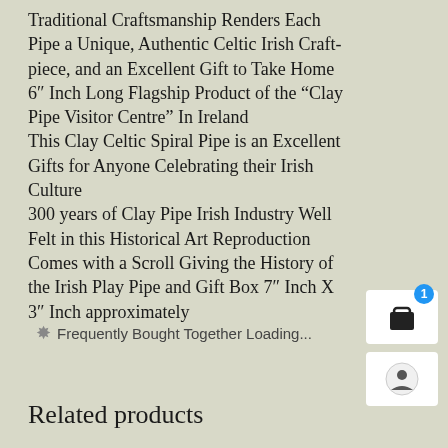Traditional Craftsmanship Renders Each Pipe a Unique, Authentic Celtic Irish Craft-piece, and an Excellent Gift to Take Home
6″ Inch Long Flagship Product of the “Clay Pipe Visitor Centre” In Ireland
This Clay Celtic Spiral Pipe is an Excellent Gifts for Anyone Celebrating their Irish Culture
300 years of Clay Pipe Irish Industry Well Felt in this Historical Art Reproduction
Comes with a Scroll Giving the History of the Irish Play Pipe and Gift Box 7″ Inch X 3″ Inch approximately
Frequently Bought Together Loading...
Related products